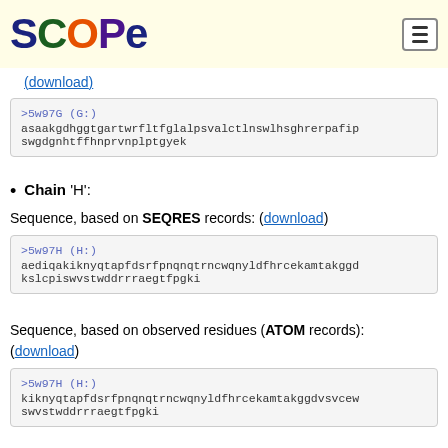SCOPe
(download)
>5w97G (G:)
asaakgdhggtgartwrfltfglalpsvalctlnswlhsghrerpafip
swgdgnhtffhnprvnplptgyek
Chain 'H':
Sequence, based on SEQRES records: (download)
>5w97H (H:)
aediqakiknyqtapfdsrfpnqnqtrncwqnyldfhrcekamtakggd
kslcpiswvstwddrrraegtfpgki
Sequence, based on observed residues (ATOM records):
(download)
>5w97H (H:)
kiknyqtapfdsrfpnqnqtrncwqnyldfhrcekamtakggdvsvcew
swvstwddrrraegtfpgki